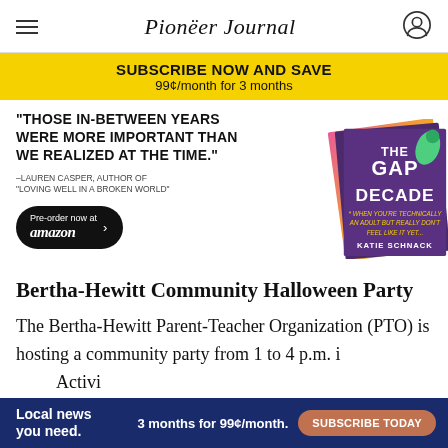Pioneer Journal
[Figure (infographic): Yellow subscription banner: SUBSCRIBE NOW AND SAVE / 99¢/month for 3 months]
[Figure (infographic): Book advertisement for 'The Gap Decade' by Katie Schnack with Amazon pre-order button. Quote: 'THOSE IN-BETWEEN YEARS WERE MORE IMPORTANT THAN WE REALIZED AT THE TIME.' —Lauren Casper, Author of 'Loving Well in a Broken World']
Bertha-Hewitt Community Halloween Party
The Bertha-Hewitt Parent-Teacher Organization (PTO) is hosting a community party from 1 to 4 p.m. i... Activi...
[Figure (infographic): Bottom subscription ad: Local news you need. 3 months for 99¢/month. SUBSCRIBE TODAY]